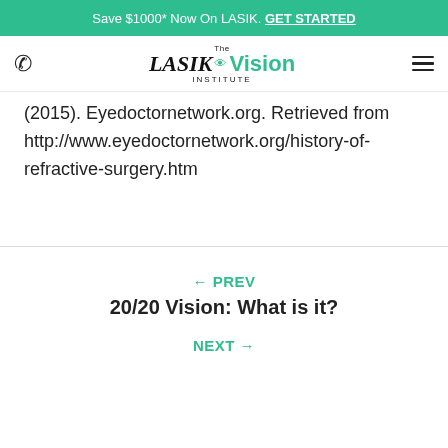Save $1000* Now On LASIK. GET STARTED
[Figure (logo): The LASIK Vision Institute logo with phone icon and hamburger menu]
(2015). Eyedoctornetwork.org. Retrieved from http://www.eyedoctornetwork.org/history-of-refractive-surgery.htm
← PREV
20/20 Vision: What is it?
NEXT →